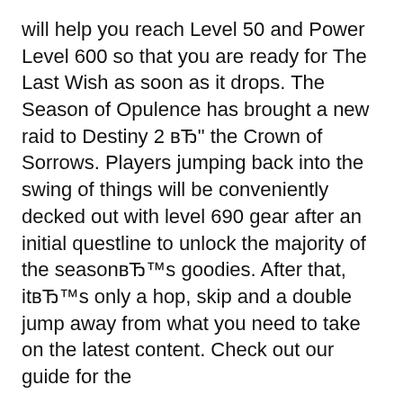will help you reach Level 50 and Power Level 600 so that you are ready for The Last Wish as soon as it drops. The Season of Opulence has brought a new raid to Destiny 2 вЂ" the Crown of Sorrows. Players jumping back into the swing of things will be conveniently decked out with level 690 gear after an initial questline to unlock the majority of the seasonвЂ™s goodies. After that, itвЂ™s only a hop, skip and a double jump away from what you need to take on the latest content. Check out our guide for the
See this guide: Fastest Way to Reach Level 20 in Destiny 2. At character level 20 you should be at around 200 power